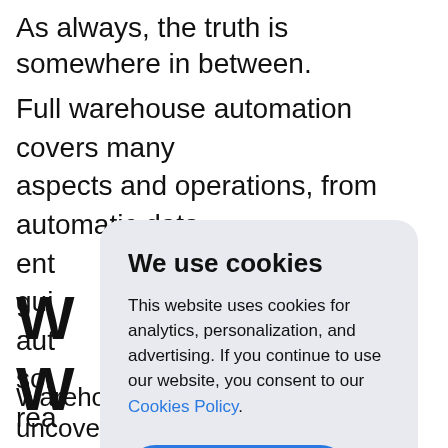As always, the truth is somewhere in between.
Full warehouse automation covers many aspects and operations, from automatic data ent gui aut sol ne rea
[Figure (screenshot): Cookie consent modal dialog with title 'We use cookies', body text about analytics/personalization/advertising, a 'Cookies Policy.' link, and an 'Accept' button.]
W
W
Warehouse automation is all about uncovering